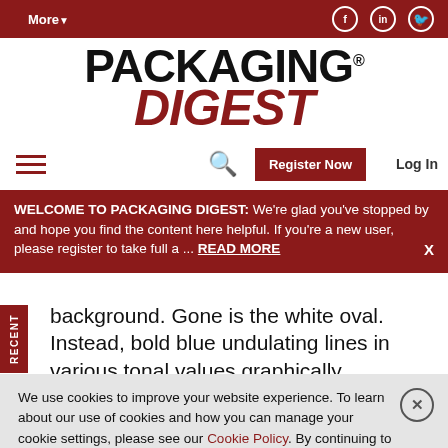More▼  [facebook] [linkedin] [twitter]
[Figure (logo): Packaging Digest logo with PACKAGING in black bold and DIGEST in dark red italic bold]
Hamburger menu | Search | Register Now | Log In
WELCOME TO PACKAGING DIGEST: We're glad you've stopped by and hope you find the content here helpful. If you're a new user, please register to take full a ... READ MORE  X
background. Gone is the white oval. Instead, bold blue undulating lines in various tonal values graphically represent a slice of bread while wrapping
We use cookies to improve your website experience. To learn about our use of cookies and how you can manage your cookie settings, please see our Cookie Policy. By continuing to use the website, you consent to our use of cookies.